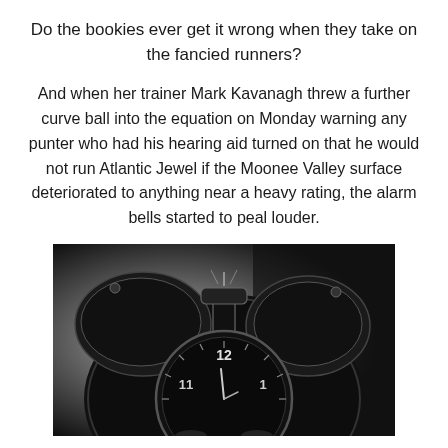Do the bookies ever get it wrong when they take on the fancied runners?
And when her trainer Mark Kavanagh threw a further curve ball into the equation on Monday warning any punter who had his hearing aid turned on that he would not run Atlantic Jewel if the Moonee Valley surface deteriorated to anything near a heavy rating, the alarm bells started to peal louder.
[Figure (photo): Close-up of a black alarm clock showing bells on top and clock face with numbers 11, 12, 1 visible, on a dark background with grey gradient lighting.]